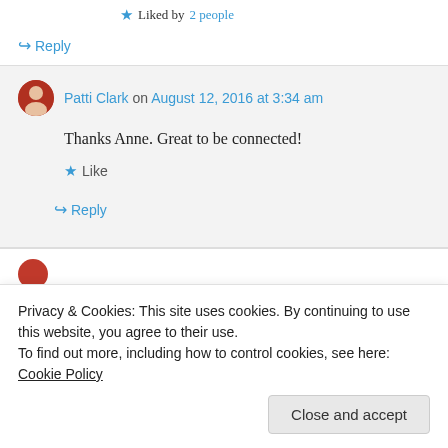★ Liked by 2 people
↪ Reply
Patti Clark on August 12, 2016 at 3:34 am
Thanks Anne. Great to be connected!
★ Like
↪ Reply
Privacy & Cookies: This site uses cookies. By continuing to use this website, you agree to their use.
To find out more, including how to control cookies, see here: Cookie Policy
Close and accept
too but your Marianne Williamson's quote not